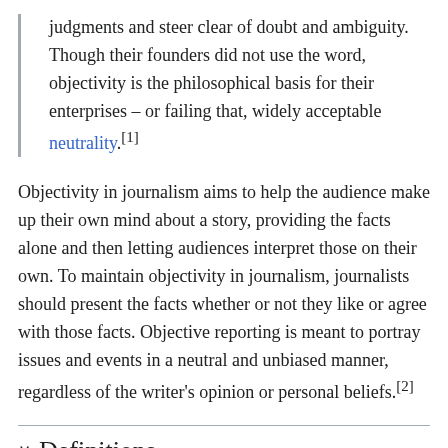judgments and steer clear of doubt and ambiguity. Though their founders did not use the word, objectivity is the philosophical basis for their enterprises – or failing that, widely acceptable neutrality.[1]
Objectivity in journalism aims to help the audience make up their own mind about a story, providing the facts alone and then letting audiences interpret those on their own. To maintain objectivity in journalism, journalists should present the facts whether or not they like or agree with those facts. Objective reporting is meant to portray issues and events in a neutral and unbiased manner, regardless of the writer's opinion or personal beliefs.[2]
Definitions